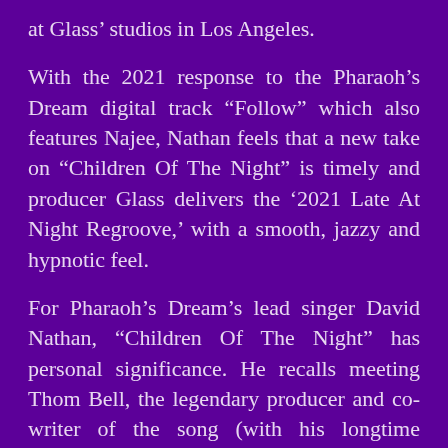at Glass' studios in Los Angeles.
With the 2021 response to the Pharaoh's Dream digital track “Follow” which also features Najee, Nathan feels that a new take on “Children Of The Night” is timely and producer Glass delivers the ‘2021 Late At Night Regroove,’ with a smooth, jazzy and hypnotic feel.
For Pharaoh’s Dream’s lead singer David Nathan, “Children Of The Night” has personal significance. He recalls meeting Thom Bell, the legendary producer and co-writer of the song (with his longtime songwriting partner, the late Linda Creed) for the first time in 1975. “Thom asked me what were among my favourite recordings he had produced and I